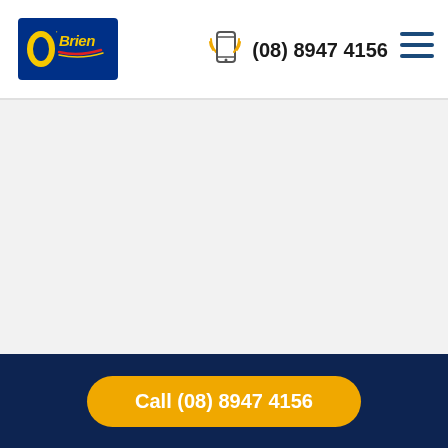[Figure (logo): O'Brien logo — dark blue rectangle with yellow O'Brien text and red/yellow chevron swoosh]
(08) 8947 4156
[Figure (other): Hamburger menu icon (three horizontal dark blue lines)]
Call (08) 8947 4156